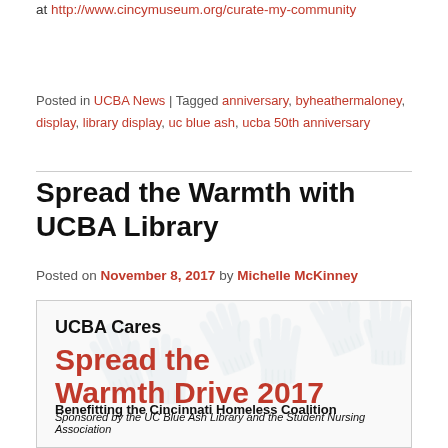at http://www.cincymuseum.org/curate-my-community
Posted in UCBA News | Tagged anniversary, byheathermaloney, display, library display, uc blue ash, ucba 50th anniversary
Spread the Warmth with UCBA Library
Posted on November 8, 2017 by Michelle McKinney
[Figure (infographic): UCBA Cares Spread the Warmth Drive 2017 promotional image. Text reads: UCBA Cares, Spread the Warmth Drive 2017, Benefitting the Cincinnati Homeless Coalition, Sponsored by the UC Blue Ash Library and the Student Nursing Association]